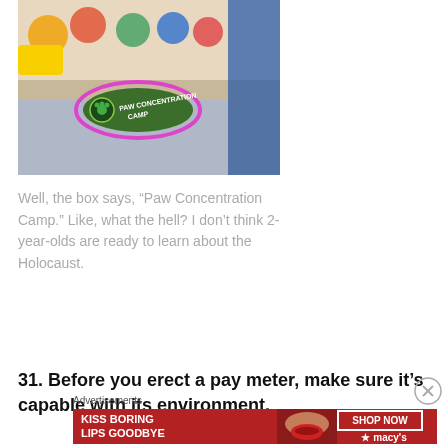[Figure (photo): Photo of a Paw Patrol toy box with a pink ellipse drawn around a badge that reads 'PAW CONCENTRATION CAMP']
Well, the box says, “Paw Concentration Camp.” Like, what the hell? I don’t think 2-year-olds are ready to learn about the Holocaust.
31. Before you erect a pay meter, make sure it’s capable with its environment.
[Figure (advertisement): Macy's advertisement banner with text 'KISS BORING LIPS GOODBYE' and 'SHOP NOW' button with Macy's star logo on a red background]